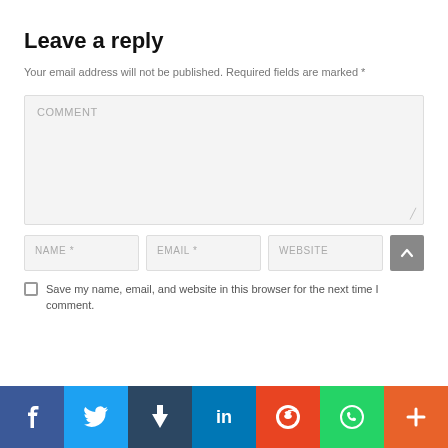Leave a reply
Your email address will not be published. Required fields are marked *
[Figure (screenshot): Comment text area input field with placeholder COMMENT and resize handle]
[Figure (screenshot): Three input fields for NAME *, EMAIL *, WEBSITE and a scroll-to-top button]
Save my name, email, and website in this browser for the next time I comment.
[Figure (infographic): Social sharing bar with Facebook, Twitter, Tumblr, LinkedIn, Reddit, WhatsApp, and Plus buttons]